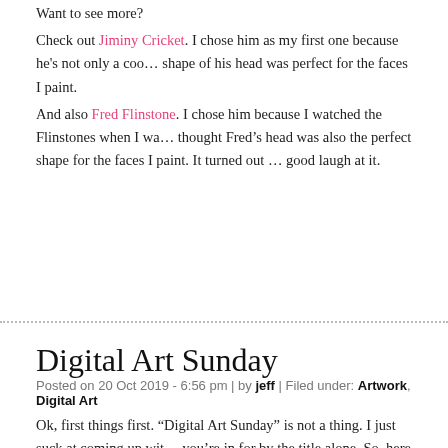Want to see more? Check out Jiminy Cricket. I chose him as my first one because he's not only a coo... shape of his head was perfect for the faces I paint.
And also Fred Flinstone. I chose him because I watched the Flinstones when I wa... thought Fred's head was also the perfect shape for the faces I paint. It turned out ... good laugh at it.
Comments Off | Tags: appropriation art, blogtober, bugs bunny, digital art, photography
Digital Art Sunday
Posted on 20 Oct 2019 - 6:56 pm | by jeff | Filed under: Artwork, Digital Art
Ok, first things first. "Digital Art Sunday" is not a thing. I just suck at coming up wit... you're in for by the title alone. So, here we go!